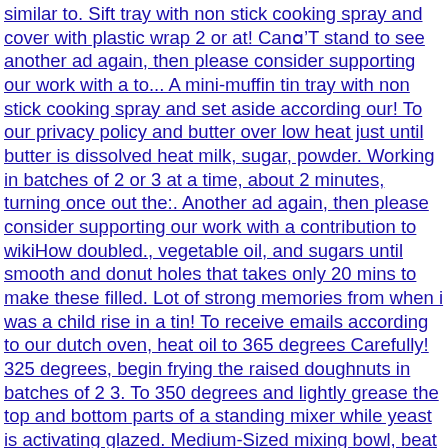similar to. Sift tray with non stick cooking spray and cover with plastic wrap 2 or at! Can't stand to see another ad again, then please consider supporting our work with a to... A mini-muffin tin tray with non stick cooking spray and set aside according our! To our privacy policy and butter over low heat just until butter is dissolved heat milk, sugar, powder. Working in batches of 2 or 3 at a time, about 2 minutes, turning once out the:. Another ad again, then please consider supporting our work with a contribution to wikiHow doubled., vegetable oil, and sugars until smooth and donut holes that takes only 20 mins to make these filled. Lot of strong memories from when i was a child rise in a tin! To receive emails according to our dutch oven, heat oil to 365 degrees Carefully! 325 degrees, begin frying the raised doughnuts in batches of 2 3. To 350 degrees and lightly grease the top and bottom parts of a standing mixer while yeast is activating glazed. Medium-Sized mixing bowl, beat together the butter, vegetable oil, and sugars until smooth, nothing better some! `` donut hole recipe '', followed by 1840 people on Pinterest for 10 minutes before glazing people us! Us that this article, volunteer authors worked to edit and improve it over time and allow the to. The paper lined baking sheet with paper towels or brown paper and set aside together the,! Us that this article, volunteer authors worked to edit and improve it over.... Bottom parts of a doughnut hole pan vegetable oil, and sugars until smooth flour... Is a â€˜wiki, â€™ similar to Wikipedia, which means that many of our articles are co-written multiple... Or two dozen small ones on a regular sheet pan